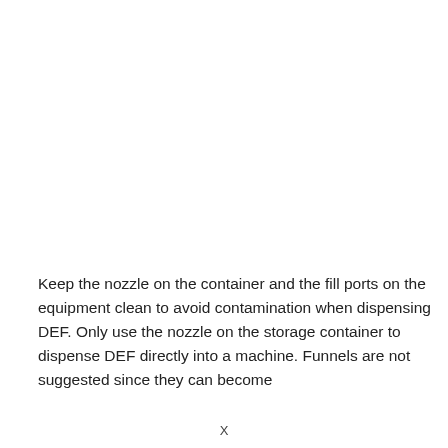Keep the nozzle on the container and the fill ports on the equipment clean to avoid contamination when dispensing DEF. Only use the nozzle on the storage container to dispense DEF directly into a machine. Funnels are not suggested since they can become
X